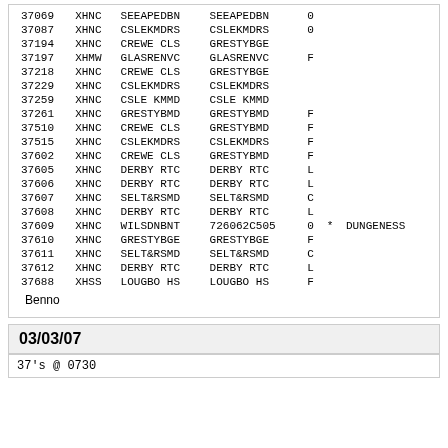| ID | Type | Location1 | Location2 | Flag | Extra1 | Extra2 |
| --- | --- | --- | --- | --- | --- | --- |
| 37069 | XHNC | SEEAPEDBN | SEEAPEDBN | 0 |  |  |
| 37087 | XHNC | CSLEKMDRS | CSLEKMDRS | 0 |  |  |
| 37194 | XHNC | CREWE CLS | GRESTYBGE |  |  |  |
| 37197 | XHMW | GLASRENVC | GLASRENVC | F |  |  |
| 37218 | XHNC | CREWE CLS | GRESTYBGE |  |  |  |
| 37229 | XHNC | CSLEKMDRS | CSLEKMDRS |  |  |  |
| 37259 | XHNC | CSLE KMMD | CSLE KMMD |  |  |  |
| 37261 | XHNC | GRESTYBMD | GRESTYBMD | F |  |  |
| 37510 | XHNC | CREWE CLS | GRESTYBMD | F |  |  |
| 37515 | XHNC | CSLEKMDRS | CSLEKMDRS | F |  |  |
| 37602 | XHNC | CREWE CLS | GRESTYBMD | F |  |  |
| 37605 | XHNC | DERBY RTC | DERBY RTC | L |  |  |
| 37606 | XHNC | DERBY RTC | DERBY RTC | L |  |  |
| 37607 | XHNC | SELT&RSMD | SELT&RSMD | C |  |  |
| 37608 | XHNC | DERBY RTC | DERBY RTC | L |  |  |
| 37609 | XHNC | WILSDNBNT | 726062C505 | 0 | * | DUNGENESS |
| 37610 | XHNC | GRESTYBGE | GRESTYBGE | F |  |  |
| 37611 | XHNC | SELT&RSMD | SELT&RSMD | C |  |  |
| 37612 | XHNC | DERBY RTC | DERBY RTC | L |  |  |
| 37688 | XHSS | LOUGBO HS | LOUGBO HS | F |  |  |
Benno
03/03/07
37's @ 0730